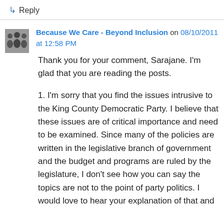↳ Reply
Because We Care - Beyond Inclusion on 08/10/2011 at 12:58 PM
Thank you for your comment, Sarajane. I'm glad that you are reading the posts.
1. I'm sorry that you find the issues intrusive to the King County Democratic Party. I believe that these issues are of critical importance and need to be examined. Since many of the policies are written in the legislative branch of government and the budget and programs are ruled by the legislature, I don't see how you can say the topics are not to the point of party politics. I would love to hear your explanation of that and